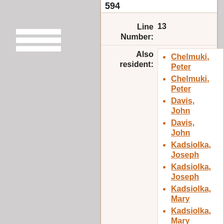594
Line Number: 13
Also resident:
Chelmuki, Peter
Chelmuki, Peter
Davis, John
Davis, John
Kadsiolka, Joseph
Kadsiolka, Joseph
Kadsiolka, Mary
Kadsiolka, Mary
Kadsiolka, Mary
Kadsiolka, Mary
Novakich,